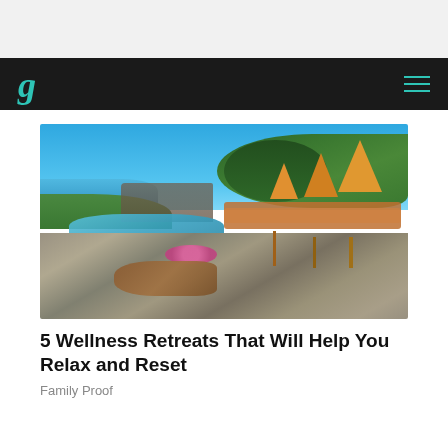[Figure (photo): Outdoor wellness retreat pool area with stone patio, orange lounge chairs with umbrellas, ocean view in background, lush green trees, flowers, and blue sky]
5 Wellness Retreats That Will Help You Relax and Reset
Family Proof